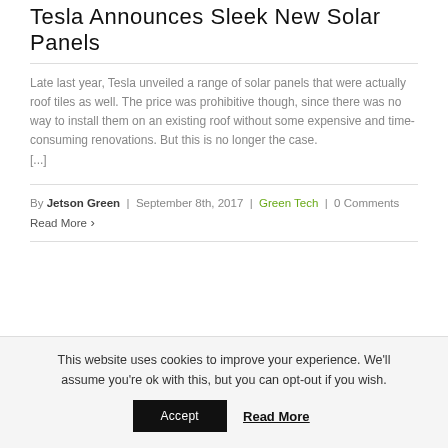Tesla Announces Sleek New Solar Panels
Late last year, Tesla unveiled a range of solar panels that were actually roof tiles as well. The price was prohibitive though, since there was no way to install them on an existing roof without some expensive and time-consuming renovations. But this is no longer the case.
[...]
By Jetson Green | September 8th, 2017 | Green Tech | 0 Comments
Read More
1 2 3 Next
This website uses cookies to improve your experience. We'll assume you're ok with this, but you can opt-out if you wish.
Accept  Read More